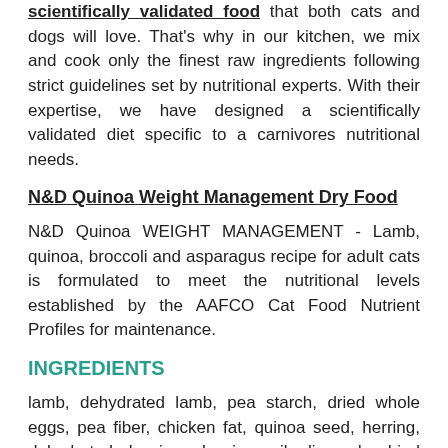scientifically validated food that both cats and dogs will love. That's why in our kitchen, we mix and cook only the finest raw ingredients following strict guidelines set by nutritional experts. With their expertise, we have designed a scientifically validated diet specific to a carnivores nutritional needs.
N&D Quinoa Weight Management Dry Food
N&D Quinoa WEIGHT MANAGEMENT - Lamb, quinoa, broccoli and asparagus recipe for adult cats is formulated to meet the nutritional levels established by the AAFCO Cat Food Nutrient Profiles for maintenance.
INGREDIENTS
lamb, dehydrated lamb, pea starch, dried whole eggs, pea fiber, chicken fat, quinoa seed, herring, dehydrated herring, herring oil, linseed, dried broccoli, dried asparagus, dried carrot, suncured alfalfa meal, inulin, fructooligosaccharide, yeast extract, psyllium seed husk, potassium chloride, salt, calcium sulfate dihydrate,